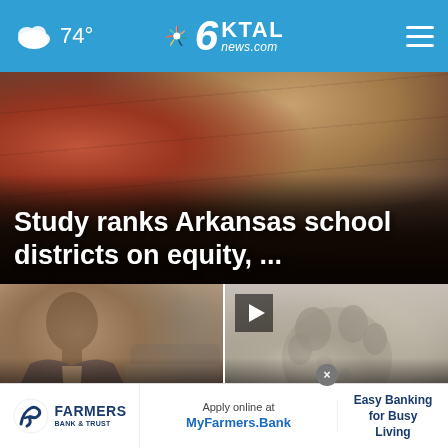74° KTAL news.com
[Figure (screenshot): Hero image showing desk items with a red thermos/vase and papers in dark brown tones]
Study ranks Arkansas school districts on equity, ...
[Figure (photo): Left card: Man in a suit at a hearing, with a damaged vehicle behind him]
Attorneys claim deputy inv... Ar...
[Figure (photo): Right card: Grayscale photo of dinosaur footprint tracks in stone/mud]
Hundreds of dinosaur tracks ... le
Apply online at MyFarmers.Bank — Easy Banking for Busy Living